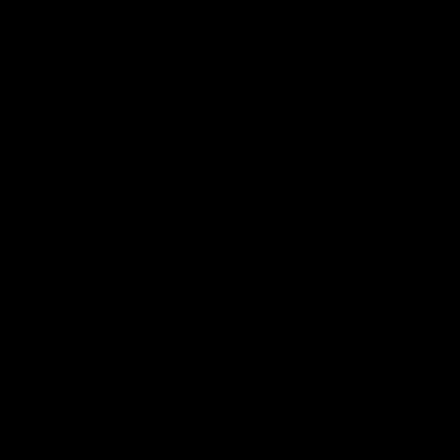[Figure (photo): Entirely black image, no visible content or text.]